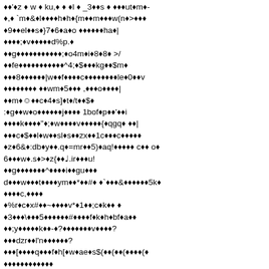corrupted/encoded text content — diamond replacement characters mixed with ASCII symbols and alphanumeric characters throughout the page